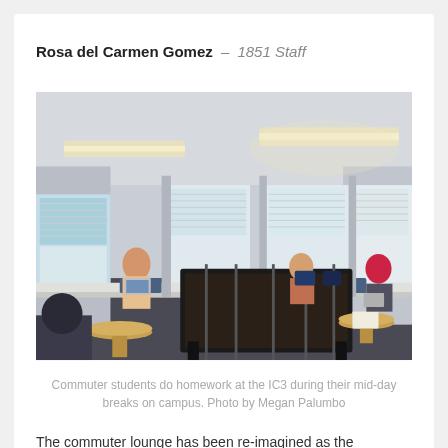Rosa del Carmen Gomez – 1851 Staff
[Figure (photo): Interior of a commuter lounge (IC3) with students doing homework. A foosball table is in the center. Students sit along window ledges and at small round tables. Fluorescent lights on the ceiling, windows with blinds along the walls, blue-gray walls.]
Commuter students do homework at the IC3 during their mid-day breaks on campus. Photo by Megan Palumbo
The commuter lounge has been re-imagined as the